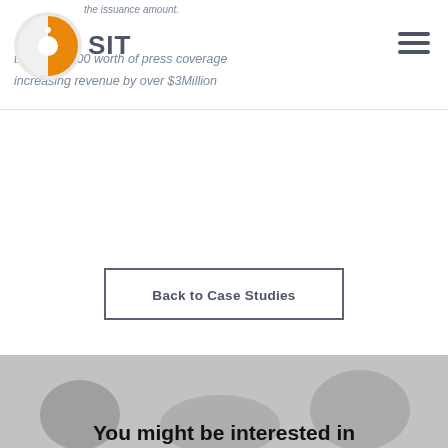the issuance amount.
Generating $500,000 worth of press coverage
increasing revenue by over $3Million
Back to Case Studies
You might be interested in